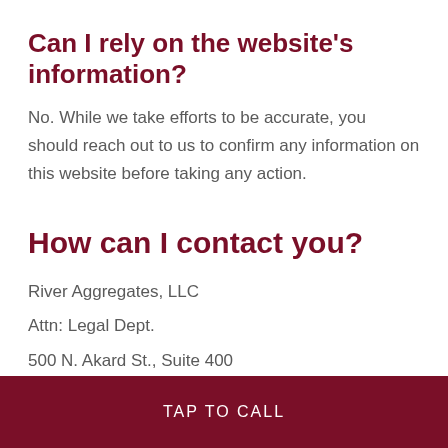Can I rely on the website's information?
No. While we take efforts to be accurate, you should reach out to us to confirm any information on this website before taking any action.
How can I contact you?
River Aggregates, LLC
Attn: Legal Dept.
500 N. Akard St., Suite 400
Dallas, TX 75201
TAP TO CALL